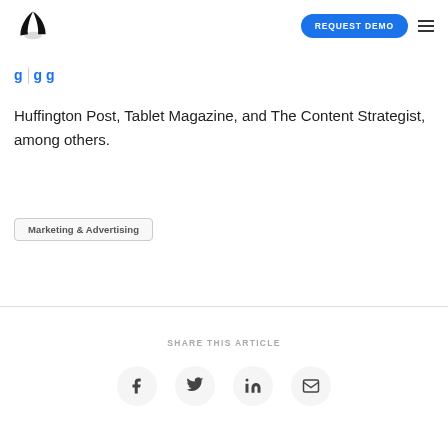REQUEST DEMO
Huffington Post, Tablet Magazine, and The Content Strategist, among others.
Marketing & Advertising
SHARE THIS ARTICLE